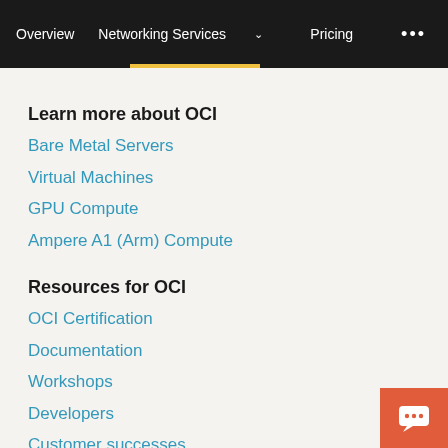Overview  Networking Services  Pricing  ...
Learn more about OCI
Bare Metal Servers
Virtual Machines
GPU Compute
Ampere A1 (Arm) Compute
Resources for OCI
OCI Certification
Documentation
Workshops
Developers
Customer successes
Networking basics